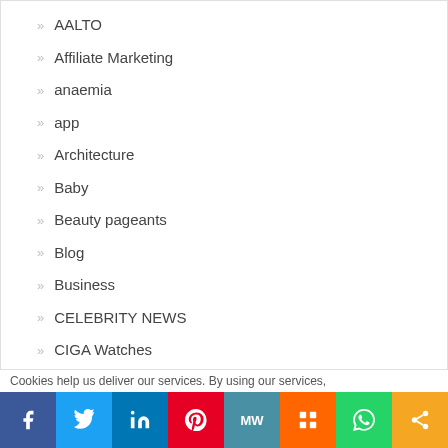AALTO
Affiliate Marketing
anaemia
app
Architecture
Baby
Beauty pageants
Blog
Business
CELEBRITY NEWS
CIGA Watches
comic
Communications Software
Cookies help us deliver our services. By using our services,